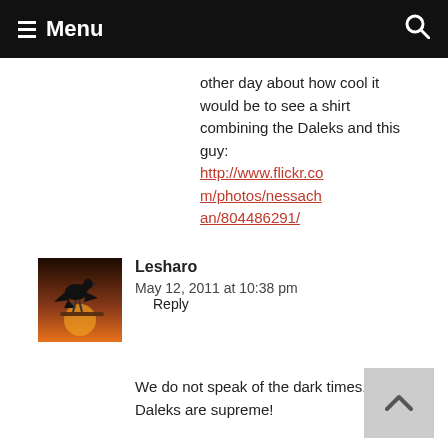Menu
other day about how cool it would be to see a shirt combining the Daleks and this guy: http://www.flickr.com/photos/nessachan/804486291/
Lesharo
May 12, 2011 at 10:38 pm
Reply
We do not speak of the dark times. Daleks are supreme!
Leave a Reply to Raindog Cancel reply